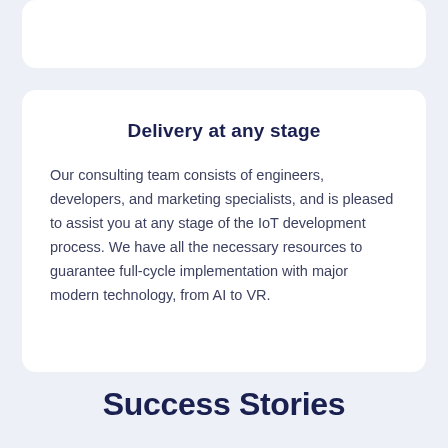Delivery at any stage
Our consulting team consists of engineers, developers, and marketing specialists, and is pleased to assist you at any stage of the IoT development process. We have all the necessary resources to guarantee full-cycle implementation with major modern technology, from AI to VR.
Success Stories